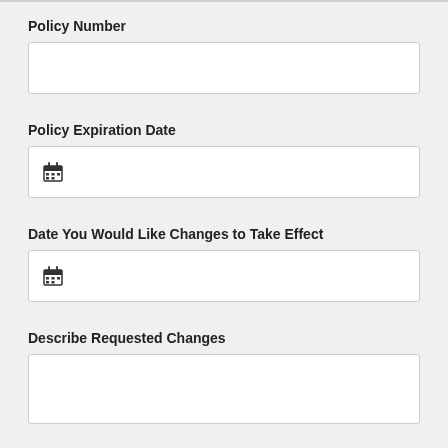Policy Number
Policy Expiration Date
Date You Would Like Changes to Take Effect
Describe Requested Changes